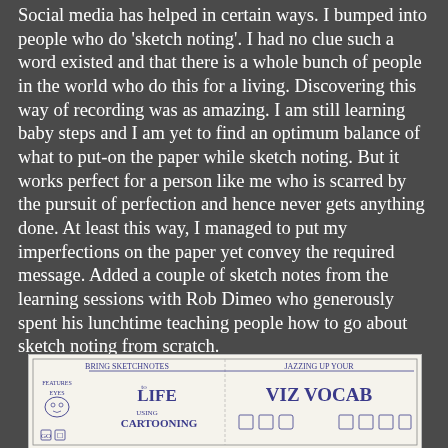Social media has helped in certain ways. I bumped into people who do 'sketch noting'. I had no clue such a word existed and that there is a whole bunch of people in the world who do this for a living. Discovering this way of recording was as amazing. I am still learning baby steps and I am yet to find an optimum balance of what to put-on the paper while sketch noting. But it works perfect for a person like me who is scarred by the pursuit of perfection and hence never gets anything done. At least this way, I managed to put my imperfections on the paper yet convey the required message. Added a couple of sketch notes from the learning sessions with Rob Dimeo who generously spent his lunchtime teaching people how to go about sketch noting from scratch.
[Figure (illustration): A hand-drawn sketchnote page showing two sections: 'Bring Sketchnotes to LIFE using CARTOONING' on the left with a face with eyes labeled 'FEATURES EYES' and small icons, and 'Jazzing UP your VIZ VOCAB' on the right with small illustrated icons.]